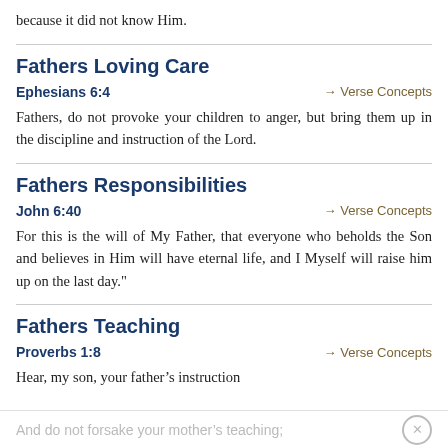because it did not know Him.
Fathers Loving Care
Ephesians 6:4
Fathers, do not provoke your children to anger, but bring them up in the discipline and instruction of the Lord.
Fathers Responsibilities
John 6:40
For this is the will of My Father, that everyone who beholds the Son and believes in Him will have eternal life, and I Myself will raise him up on the last day."
Fathers Teaching
Proverbs 1:8
Hear, my son, your father’s instruction
And do not forsake your mother’s teaching;